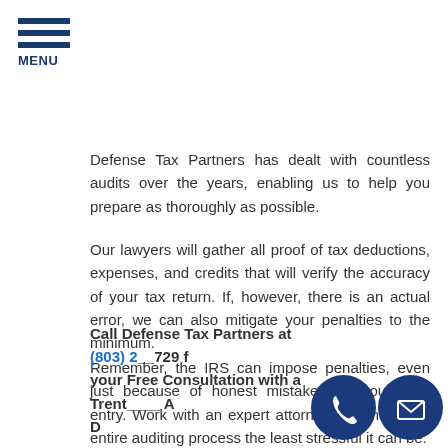MENU
Defense Tax Partners has dealt with countless audits over the years, enabling us to help you prepare as thoroughly as possible.
Our lawyers will gather all proof of tax deductions, expenses, and credits that will verify the accuracy of your tax return. If, however, there is an actual error, we can also mitigate your penalties to the minimum.
Remember, the IRS can impose penalties, even just because of honest mistakes on your data entry. Work with an expert attorney and make the entire auditing process the least stressful it can be.
Call Defense Tax Partners at (803) 2__729 for your Free Consultation with a Trenton IRS Audit Defense attorney.